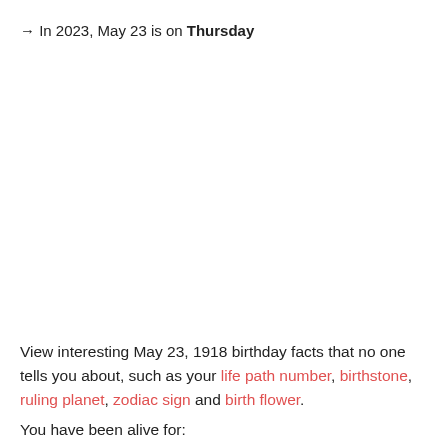→ In 2023, May 23 is on Thursday
View interesting May 23, 1918 birthday facts that no one tells you about, such as your life path number, birthstone, ruling planet, zodiac sign and birth flower.
You have been alive for: